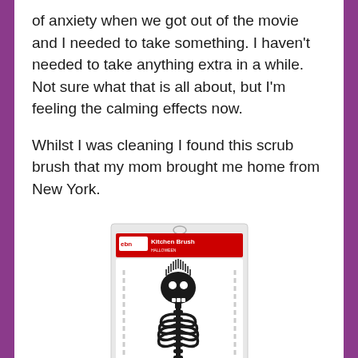of anxiety when we got out of the movie and I needed to take something. I haven't needed to take anything extra in a while. Not sure what that is all about, but I'm feeling the calming effects now.
Whilst I was cleaning I found this scrub brush that my mom brought me home from New York.
[Figure (photo): A skeleton-shaped kitchen scrub brush in retail packaging. The package label reads 'Kitchen Brush'. The brush is black and shaped like a skeleton with a skull head with bristles for hair and a ribcage body pattern.]